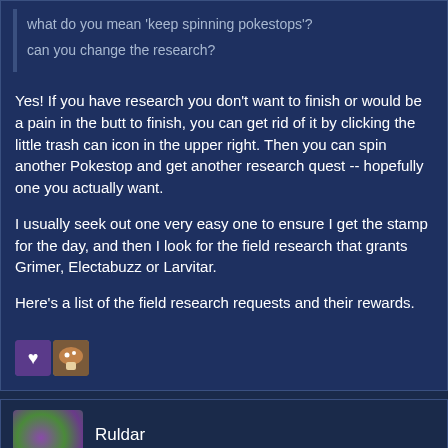what do you mean 'keep spinning pokestops'?
can you change the research?
Yes! If you have research you don't want to finish or would be a pain in the butt to finish, you can get rid of it by clicking the little trash can icon in the upper right. Then you can spin another Pokestop and get another research quest -- hopefully one you actually want.
I usually seek out one very easy one to ensure I get the stamp for the day, and then I look for the field research that grants Grimer, Electabuzz or Larvitar.
Here's a list of the field research requests and their rewards.
[Figure (other): Two small reaction/emoji icons side by side - a heart icon on a purple background and a mushroom/character icon on a brown background]
Ruldar
April 2018